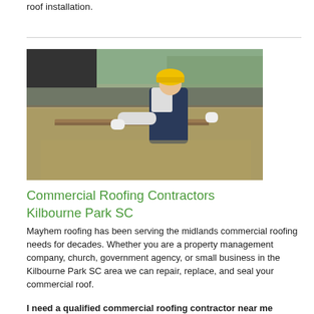roof installation.
[Figure (photo): A construction worker in a yellow hard hat and dark overalls kneeling on a flat roof, smoothing or laying gravel/aggregate material with a tool.]
Commercial Roofing Contractors Kilbourne Park SC
Mayhem roofing has been serving the midlands commercial roofing needs for decades. Whether you are a property management company, church, government agency, or small business in the Kilbourne Park SC area we can repair, replace, and seal your commercial roof.
I need a qualified commercial roofing contractor near me